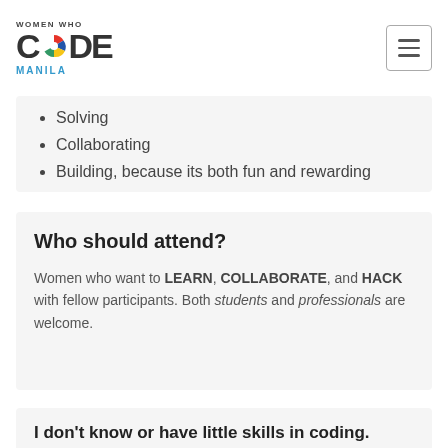[Figure (logo): Women Who Code Manila logo with colored pinwheel icon]
Solving
Collaborating
Building, because its both fun and rewarding
Who should attend?
Women who want to LEARN, COLLABORATE, and HACK with fellow participants. Both students and professionals are welcome.
I don't know or have little skills in coding. Can I still join?